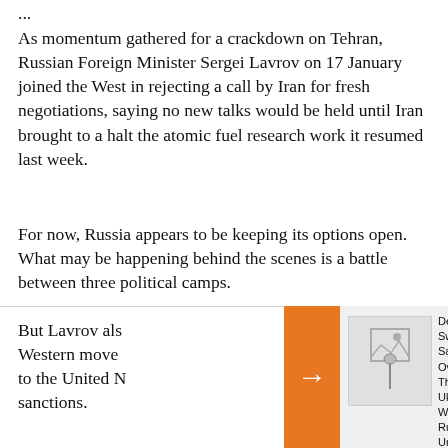As momentum gathered for a crackdown on Tehran, Russian Foreign Minister Sergei Lavrov on 17 January joined the West in rejecting a call by Iran for fresh negotiations, saying no new talks would be held until Iran brought to a halt the atomic fuel research work it resumed last week.
For now, Russia appears to be keeping its options open. What may be happening behind the scenes is a battle between three political camps.
But Lavrov also Western move to the United N sanctions.
Despite Sweeping Sanctions Over The Ukraine War, Russian Unemployment Touches Post-Soviet Low. Here's Why.